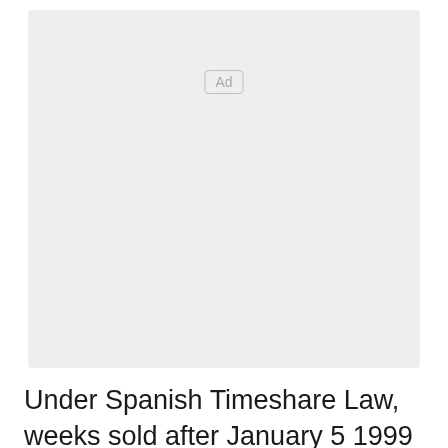[Figure (other): Advertisement placeholder box with 'Ad' label in center-top area]
Under Spanish Timeshare Law, weeks sold after January 5 1999 cannot be in perpetuity